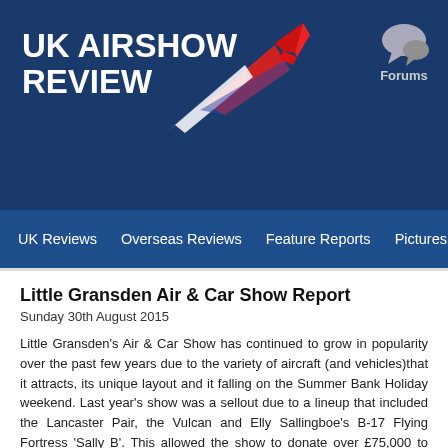UK AIRSHOW REVIEW
UK Reviews | Overseas Reviews | Feature Reports | Pictures
Little Gransden Air & Car Show Report
Sunday 30th August 2015
Little Gransden's Air & Car Show has continued to grow in popularity over the past few years due to the variety of aircraft (and vehicles)that it attracts, its unique layout and it falling on the Summer Bank Holiday weekend. Last year's show was a sellout due to a lineup that included the Lancaster Pair, the Vulcan and Elly Sallingboe's B-17 Flying Fortress 'Sally B'. This allowed the show to donate over £75,000 to charity, with £63,743.69 going to Children in Need. 2015's show had a lot to live
Keith Meachem braved the Bank Holiday weather to report from Lit...
With the Vulcan scheduled to make its final appearance at the sh... gates opened at 10:00, long queues formed in both car parks. Onc... the car parks had filled rapidly. Parking in the display...